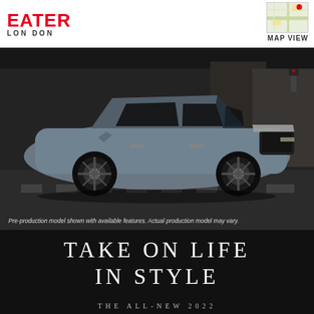EATER LONDON
[Figure (photo): Silver/blue Infiniti QX60 SUV driving on a city street at a crosswalk, photographed from the side in an urban setting with buildings in background]
Pre-production model shown with available features. Actual production model may vary.
TAKE ON LIFE IN STYLE
THE ALL-NEW 2022